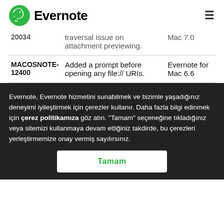Evernote
| ID | Description | Version |
| --- | --- | --- |
| 20034 | traversal issue on attachment previewing. | Mac 7.0 |
| MACOSNOTE-12400 | Added a prompt before opening any file:// URIs. | Evernote for Mac 6.6 |
Evernote, Evernote hizmetini sunabilmek ve bizimle yaşadığınız deneyimi iyileştirmek için çerezler kullanır. Daha fazla bilgi edinmek için çerez politikamıza göz atın. "Tamam" seçeneğine tıkladığınız veya sitemizi kullanmaya devam ettiğiniz takdirde, bu çerezleri yerleştirmemize onay vermiş sayılırsınız.
Tamam